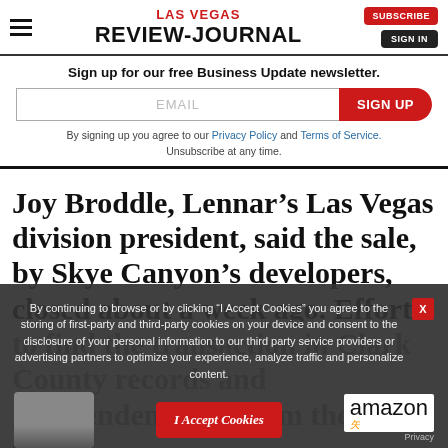LAS VEGAS REVIEW-JOURNAL
Sign up for our free Business Update newsletter.
EMAIL
SIGN UP
By signing up you agree to our Privacy Policy and Terms of Service. Unsubscribe at any time.
Joy Broddle, Lennar’s Las Vegas division president, said the sale, by Skye Canyon’s developers, closed about a week ago. Efforts to find the transaction in Clark County records and independently confirm the price we…
By continuing to browse or by clicking “I Accept Cookies” you agree to the storing of first-party and third-party cookies on your device and consent to the disclosure of your personal information to our third party service providers or advertising partners to optimize your experience, analyze traffic and personalize content.
I Accept Cookies
[Figure (logo): Amazon logo with smile and Privacy text]